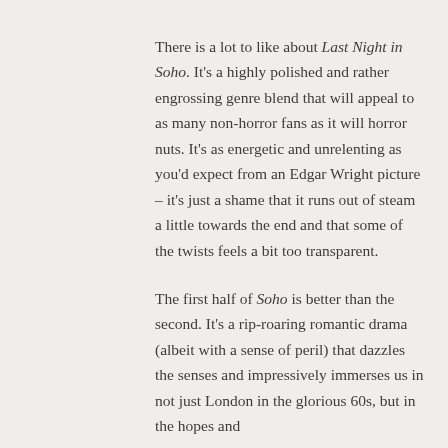There is a lot to like about Last Night in Soho. It's a highly polished and rather engrossing genre blend that will appeal to as many non-horror fans as it will horror nuts. It's as energetic and unrelenting as you'd expect from an Edgar Wright picture – it's just a shame that it runs out of steam a little towards the end and that some of the twists feels a bit too transparent.
The first half of Soho is better than the second. It's a rip-roaring romantic drama (albeit with a sense of peril) that dazzles the senses and impressively immerses us in not just London in the glorious 60s, but in the hopes and